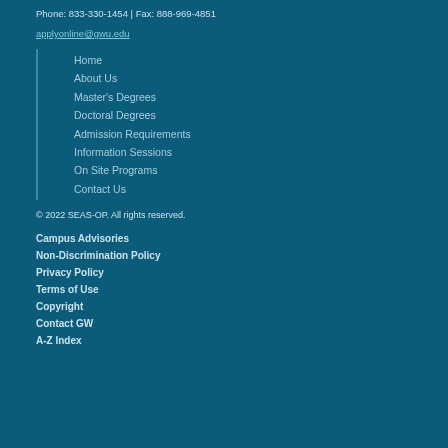Phone: 833-330-1454 | Fax: 888-969-4851
applyonline@gwu.edu
Home
About Us
Master's Degrees
Doctoral Degrees
Admission Requirements
Information Sessions
On Site Programs
Contact Us
© 2022 SEAS-OP. All rights reserved.
Campus Advisories
Non-Discrimination Policy
Privacy Policy
Terms of Use
Copyright
Contact GW
A-Z Index